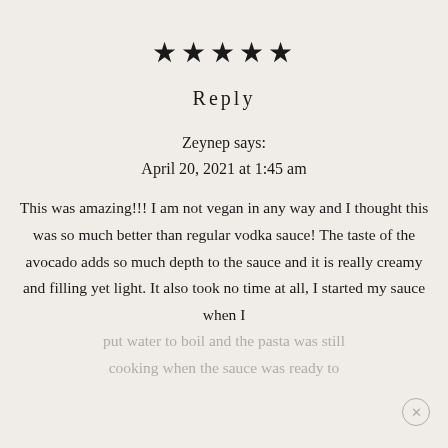★★★★★
Reply
Zeynep says:
April 20, 2021 at 1:45 am
This was amazing!!! I am not vegan in any way and I thought this was so much better than regular vodka sauce! The taste of the avocado adds so much depth to the sauce and it is really creamy and filling yet light. It also took no time at all, I started my sauce when I put water to boil and the pasta was still cooking when the sauce was ready to